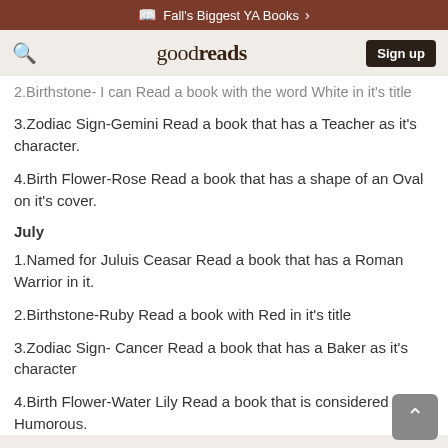Fall's Biggest YA Books
goodreads  Sign up
2.Birthstone- I can Read a book with the word White in it's title
3.Zodiac Sign-Gemini Read a book that has a Teacher as it's character.
4.Birth Flower-Rose Read a book that has a shape of an Oval on it's cover.
July
1.Named for Juluis Ceasar Read a book that has a Roman Warrior in it.
2.Birthstone-Ruby Read a book with Red in it's title
3.Zodiac Sign- Cancer Read a book that has a Baker as it's character
4.Birth Flower-Water Lily Read a book that is considered to be Humorous.